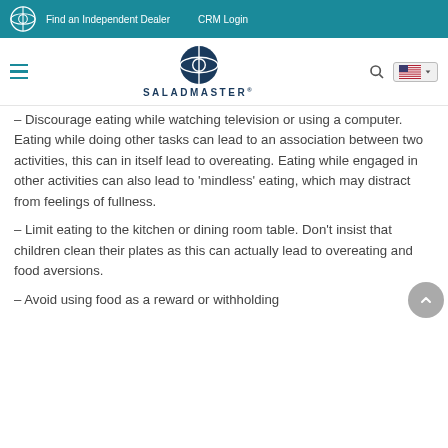Find an Independent Dealer   CRM Login
[Figure (logo): Saladmaster logo and brand name in navigation bar]
– Discourage eating while watching television or using a computer. Eating while doing other tasks can lead to an association between two activities, this can in itself lead to overeating. Eating while engaged in other activities can also lead to 'mindless' eating, which may distract from feelings of fullness.
– Limit eating to the kitchen or dining room table. Don't insist that children clean their plates as this can actually lead to overeating and food aversions.
– Avoid using food as a reward or withholding